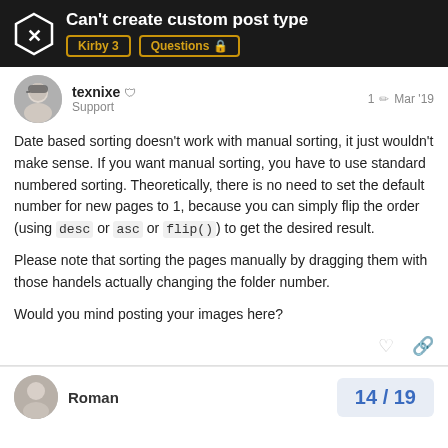Can't create custom post type — Kirby 3 | Questions
texnixe — Support — 1 — Mar '19
Date based sorting doesn't work with manual sorting, it just wouldn't make sense. If you want manual sorting, you have to use standard numbered sorting. Theoretically, there is no need to set the default number for new pages to 1, because you can simply flip the order (using desc or asc or flip()) to get the desired result.
Please note that sorting the pages manually by dragging them with those handels actually changing the folder number.
Would you mind posting your images here?
Roman — 14 / 19